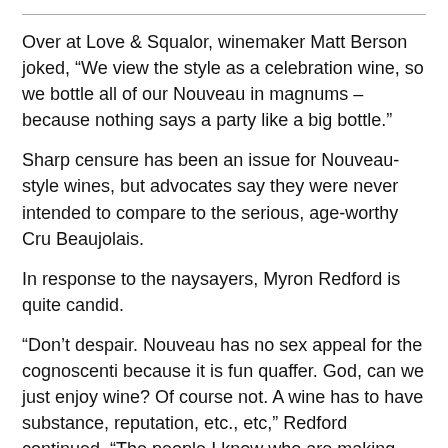Over at Love & Squalor, winemaker Matt Berson joked, “We view the style as a celebration wine, so we bottle all of our Nouveau in magnums – because nothing says a party like a big bottle.”
Sharp censure has been an issue for Nouveau-style wines, but advocates say they were never intended to compare to the serious, age-worthy Cru Beaujolais.
In response to the naysayers, Myron Redford is quite candid.
“Don’t despair. Nouveau has no sex appeal for the cognoscenti because it is fun quaffer. God, can we just enjoy wine? Of course not. A wine has to have substance, reputation, etc., etc,” Redford continued. “The people I know who are making Nouveau are doing it for fun.”
Redford continues to pour his current vintage of Gamay Noir at the French American Society’s Beaujolais Nouveau Festival. Because of ripening constraints, it is typically a year older than the French Gamays but always appreciated.
Viki Eierdam is the wine columnist for The Columbian and a